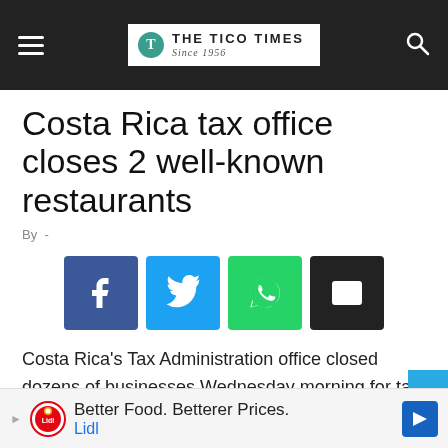THE TICO TIMES Since 1956
Costa Rica tax office closes 2 well-known restaurants
By -
[Figure (infographic): Social share buttons: Facebook, Twitter, WhatsApp, Email]
Costa Rica's Tax Administration office closed dozens of businesses Wednesday morning for tax irregularities, including late payments and failure to report sales tax.
Costa Rica Videos
[Figure (infographic): Lidl advertisement: Better Food. Betterer Prices. Lidl]